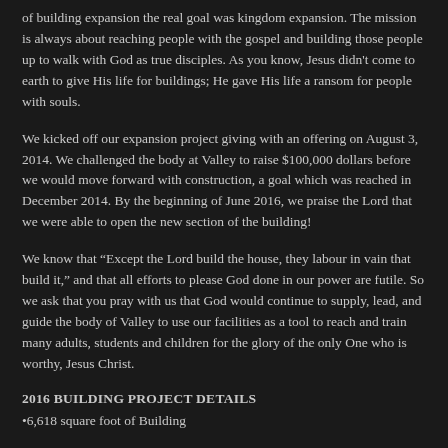of building expansion the real goal was kingdom expansion. The mission is always about reaching people with the gospel and building those people up to walk with God as true disciples. As you know, Jesus didn't come to earth to give His life for buildings; He gave His life a ransom for people with souls.
We kicked off our expansion project giving with an offering on August 3, 2014. We challenged the body at Valley to raise $100,000 dollars before we would move forward with construction, a goal which was reached in December 2014. By the beginning of June 2016, we praise the Lord that we were able to open the new section of the building!
We know that “Except the Lord build the house, they labour in vain that build it,” and that all efforts to please God done in our power are futile. So we ask that you pray with us that God would continue to supply, lead, and guide the body of Valley to use our facilities as a tool to reach and train many adults, students and children for the glory of the only One who is worthy, Jesus Christ.
2016 BUILDING PROJECT DETAILS
•6,618 square foot of Building